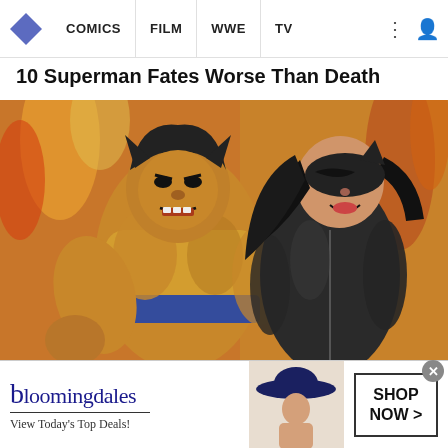COMICS | FILM | WWE | TV
10 Superman Fates Worse Than Death
[Figure (illustration): Comic book illustration of Wolverine in his classic yellow and blue costume alongside a female character in a dark bodysuit and mask, both set against a fiery orange and yellow background.]
What Happened To Everyone Who Joined The Weapon X Program?
[Figure (advertisement): Bloomingdale's advertisement banner featuring the bloomingdales logo, 'View Today's Top Deals!' tagline, a woman in a wide-brim hat, and a 'SHOP NOW >' button.]